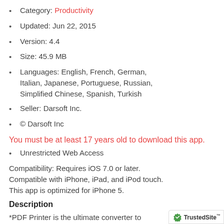Category: Productivity
Updated: Jun 22, 2015
Version: 4.4
Size: 45.9 MB
Languages: English, French, German, Italian, Japanese, Portuguese, Russian, Simplified Chinese, Spanish, Turkish
Seller: Darsoft Inc.
© Darsoft Inc
You must be at least 17 years old to download this app.
Unrestricted Web Access
Compatibility: Requires iOS 7.0 or later. Compatible with iPhone, iPad, and iPod touch. This app is optimized for iPhone 5.
Description
*PDF Printer is the ultimate converter to Adobe PDF, enhanced with built-in scanner!* **Pre-packs 1 month of free VPN protection from Wi-Fi sniffing and Internet surveillance